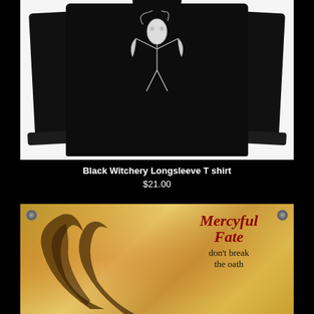[Figure (photo): Black long sleeve t-shirt laid flat on white background, with white graphic art design of a witch or demon figure on the chest]
Black Witchery Longsleeve T shirt
$21.00
[Figure (photo): Mercyful Fate 'Don't Break the Oath' banner/flag with yellow-gold background showing large curved demon horns, with the band name in red gothic lettering and album title text below]